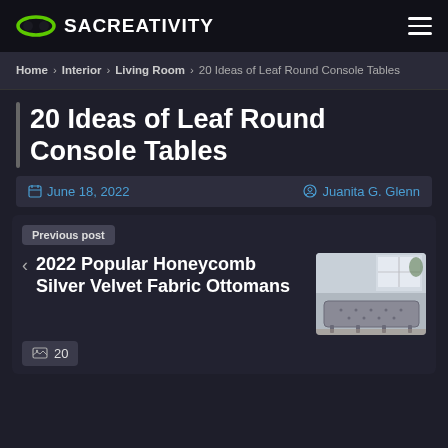SACREATIVITY
Home > Interior > Living Room > 20 Ideas of Leaf Round Console Tables
20 Ideas of Leaf Round Console Tables
June 18, 2022  Juanita G. Glenn
Previous post
2022 Popular Honeycomb Silver Velvet Fabric Ottomans
[Figure (photo): Interior photo showing ottomans in a room]
20